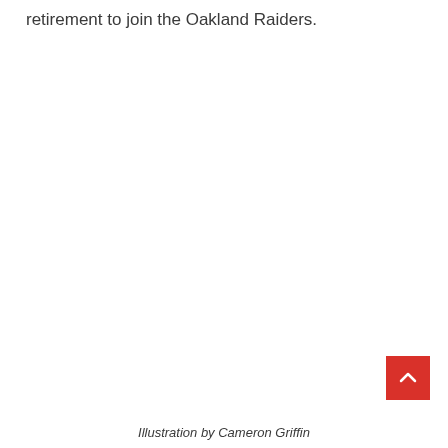retirement to join the Oakland Raiders.
[Figure (other): Red square button with white upward-pointing chevron arrow, used as a scroll-to-top navigation element]
Illustration by Cameron Griffin